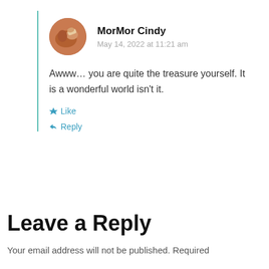[Figure (photo): Circular avatar photo of commenter MorMor Cindy showing a close-up of a hand or similar warm-toned subject]
MorMor Cindy
May 14, 2022 at 11:21 am
Awww… you are quite the treasure yourself. It is a wonderful world isn't it.
Like
Reply
Leave a Reply
Your email address will not be published. Required